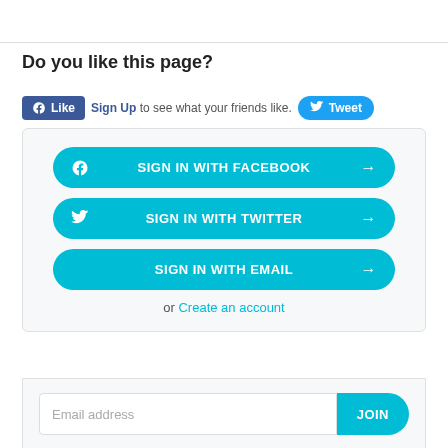Do you like this page?
[Figure (screenshot): Facebook Like button and Twitter Tweet button social bar]
[Figure (screenshot): Sign-in options panel with SIGN IN WITH FACEBOOK, SIGN IN WITH TWITTER, SIGN IN WITH EMAIL buttons and or Create an account link]
[Figure (screenshot): Email address input field with JOIN button]